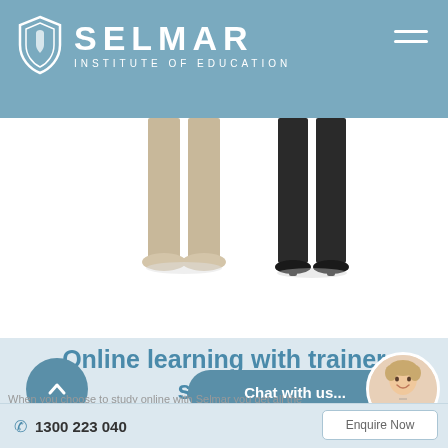SELMAR INSTITUTE OF EDUCATION
[Figure (photo): Two people standing, showing lower body/legs only — one in beige trousers and flat shoes, one in dark trousers and heeled shoes, against white background]
Online learning with trainer support
[Figure (photo): Circular avatar/chat icon showing a smiling woman with short blonde hair]
When you choose to study online with Selmar you get all the benefits of online training, while still receiving dedicated trainer...
1300 223 040   Enquire Now